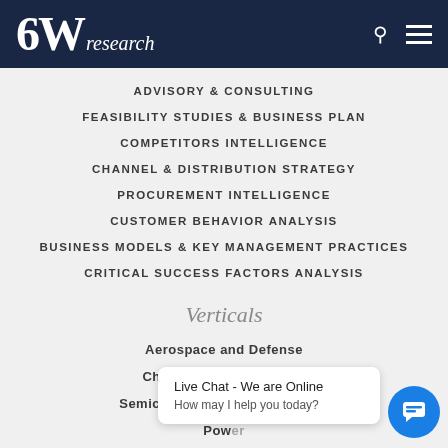6Wresearch
ADVISORY & CONSULTING
FEASIBILITY STUDIES & BUSINESS PLAN
COMPETITORS INTELLIGENCE
CHANNEL & DISTRIBUTION STRATEGY
PROCUREMENT INTELLIGENCE
CUSTOMER BEHAVIOR ANALYSIS
BUSINESS MODELS & KEY MANAGEMENT PRACTICES
CRITICAL SUCCESS FACTORS ANALYSIS
Verticals
Aerospace and Defense
Chemicals and Materials
Semiconductor and Electronics
Power
Telecom, Information & Communication Technology